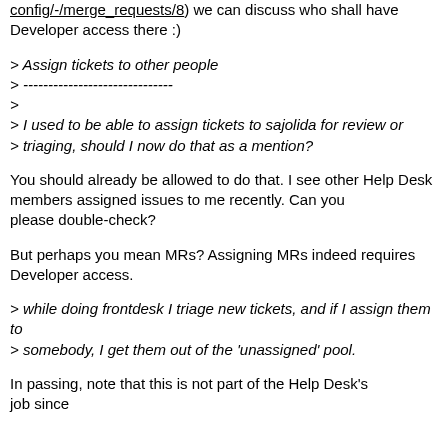config/-/merge_requests/8) we can discuss who shall have Developer access there :)
> Assign tickets to other people
> ------------------------------
>
> I used to be able to assign tickets to sajolida for review or
> triaging, should I now do that as a mention?
You should already be allowed to do that. I see other Help Desk members assigned issues to me recently. Can you please double-check?
But perhaps you mean MRs? Assigning MRs indeed requires Developer access.
> while doing frontdesk I triage new tickets, and if I assign them to
> somebody, I get them out of the 'unassigned' pool.
In passing, note that this is not part of the Help Desk's job since